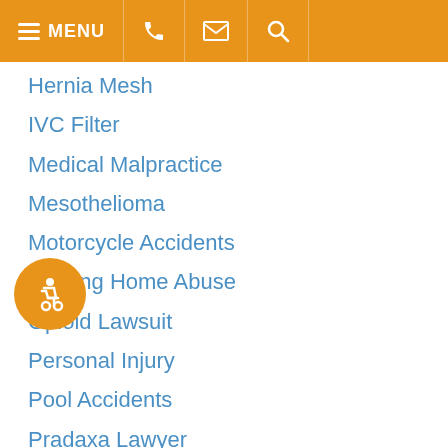MENU
Hernia Mesh
IVC Filter
Medical Malpractice
Mesothelioma
Motorcycle Accidents
Nursing Home Abuse
Opioid Lawsuit
Personal Injury
Pool Accidents
Pradaxa Lawyer
Premises Liability
Prescription Drug Litigation
Products Liability
Road Rage
Slip And Fall